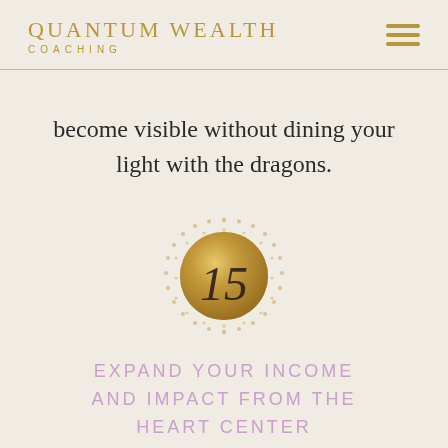QUANTUM WEALTH COACHING
become visible without dining your light with the dragons.
[Figure (illustration): Gold glittery circle with dotted sunburst pattern around it, containing the number 15 in italic serif font]
EXPAND YOUR INCOME AND IMPACT FROM THE HEART CENTER
Activating the Heartbeat of your